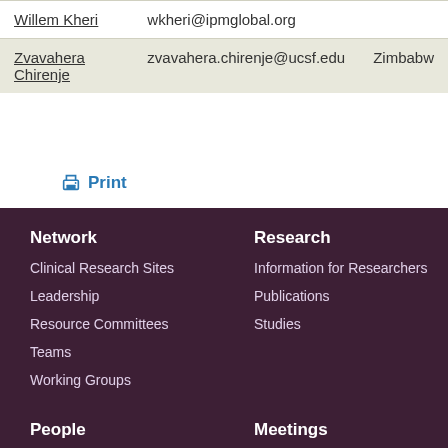| Name | Email | Country |
| --- | --- | --- |
| Willem Kheri | wkheri@ipmglobal.org |  |
| Zvavahera Chirenje | zvavahera.chirenje@ucsf.edu | Zimbabw... |
Print
Network | Clinical Research Sites | Leadership | Resource Committees | Teams | Working Groups | Research | Information for Researchers | Publications | Studies | People | Meetings